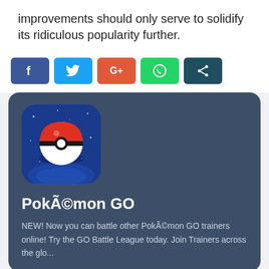improvements should only serve to solidify its ridiculous popularity further.
[Figure (infographic): Social sharing buttons: Facebook (blue), Twitter (light blue), Google+ (red-orange), WhatsApp (green), Share (dark teal)]
[Figure (screenshot): Pokémon GO app card on a dark blue-grey background. Shows the Pokémon GO app icon (Poké Ball on blue background), bold white title 'PokÃ©mon GO', and description text: 'NEW! Now you can battle other PokÃ©mon GO trainers online! Try the GO Battle League today. Join Trainers across the glo...']